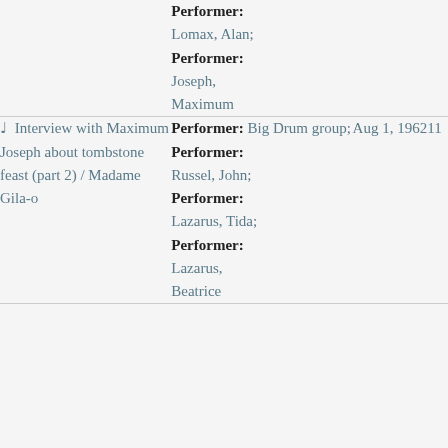| Title | Performer/Details | Date | # |
| --- | --- | --- | --- |
|  | Performer:
Lomax, Alan;
Performer:
Joseph, Maximum |  |  |
| ♩ Interview with Maximum Joseph about tombstone feast (part 2) / Madame Gila-o | Performer: Big Drum group;
Performer:
Russel, John;
Performer:
Lazarus, Tida;
Performer:
Lazarus, Beatrice | Aug 1, 1962 | 11 |